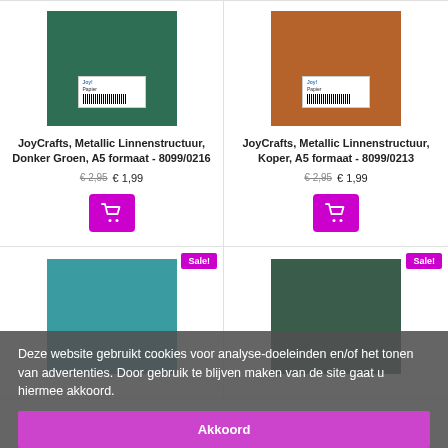[Figure (photo): Dark green metallic linen paper product with label sticker]
JoyCrafts, Metallic Linnenstructuur, Donker Groen, A5 formaat - 8099/0216
€ 2,95  € 1,99
[Figure (photo): Copper metallic linen paper product with label sticker]
JoyCrafts, Metallic Linnenstructuur, Koper, A5 formaat - 8099/0213
€ 2,95  € 1,99
[Figure (photo): Teal metallic linen paper product with Sale! badge]
[Figure (photo): Dark green metallic linen paper product with Sale! badge]
Deze website gebruikt cookies voor analyse-doeleinden en/of het tonen van advertenties. Door gebruik te blijven maken van de site gaat u hiermee akkoord.
Akkoord